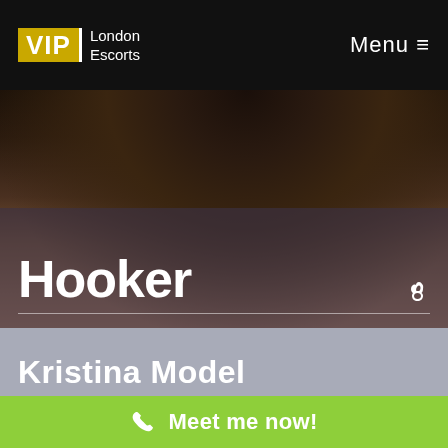VIP London Escorts   Menu ≡
[Figure (photo): Dark moody photo of a woman's torso against a blurred bookshelf background]
Hooker
Kristina Model
[Figure (photo): Pink-toned photo strip at bottom of page]
Meet me now!